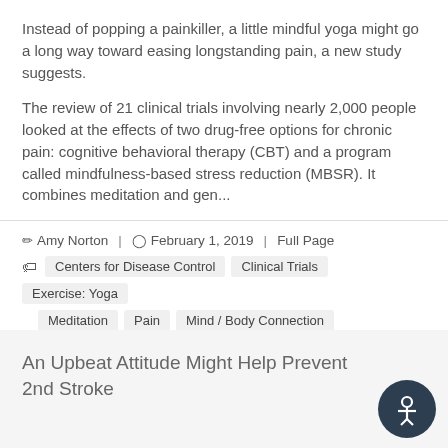Instead of popping a painkiller, a little mindful yoga might go a long way toward easing longstanding pain, a new study suggests.
The review of 21 clinical trials involving nearly 2,000 people looked at the effects of two drug-free options for chronic pain: cognitive behavioral therapy (CBT) and a program called mindfulness-based stress reduction (MBSR). It combines meditation and gen...
✏ Amy Norton  |  🕐 February 1, 2019  |  Full Page
🏷 Centers for Disease Control  Clinical Trials  Exercise: Yoga  Meditation  Pain  Mind / Body Connection
An Upbeat Attitude Might Help Prevent 2nd Stroke